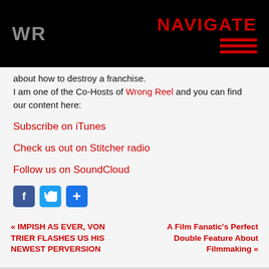WR | NAVIGATE
about how to destroy a franchise.
I am one of the Co-Hosts of Wrong Reel and you can find our content here:
Subscribe on iTunes
Check us out on Stitcher radio
Follow us on SoundCloud
[Figure (other): Social share icons: Facebook (blue), Twitter (blue), and a plus/share button (blue)]
« IMPISH AS EVER, VON TRIER FLASHES US HIS NEWEST PERVERSION
A Film Fanatic's Perfect Double Feature About Filmmaking »